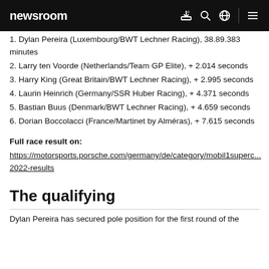newsroom
1. Dylan Pereira (Luxembourg/BWT Lechner Racing), 38.89.383 minutes
2. Larry ten Voorde (Netherlands/Team GP Elite), + 2.014 seconds
3. Harry King (Great Britain/BWT Lechner Racing), + 2.995 seconds
4. Laurin Heinrich (Germany/SSR Huber Racing), + 4.371 seconds
5. Bastian Buus (Denmark/BWT Lechner Racing), + 4.659 seconds
6. Dorian Boccolacci (France/Martinet by Alméras), + 7.615 seconds
Full race result on:
https://motorsports.porsche.com/germany/de/category/mobil1superc...2022-results
The qualifying
Dylan Pereira has secured pole position for the first round of the